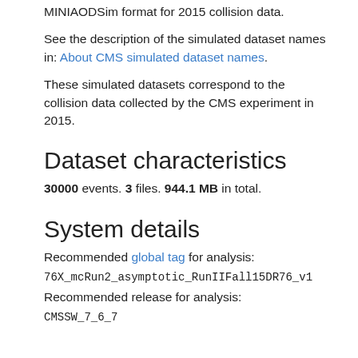MINIAODSim format for 2015 collision data.
See the description of the simulated dataset names in: About CMS simulated dataset names.
These simulated datasets correspond to the collision data collected by the CMS experiment in 2015.
Dataset characteristics
30000 events. 3 files. 944.1 MB in total.
System details
Recommended global tag for analysis:
76X_mcRun2_asymptotic_RunIIFall15DR76_v1
Recommended release for analysis:
CMSSW_7_6_7